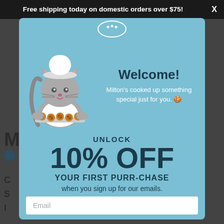Free shipping today on domestic orders over $75!
[Figure (illustration): Cartoon cat chef wearing a white chef's hat and apron, holding a tray of cookies]
Welcome!
Milton's cooked up something special just for you. 🍪
UNLOCK
10% OFF
YOUR FIRST PURR-CHASE
when you sign up for our emails.
Email